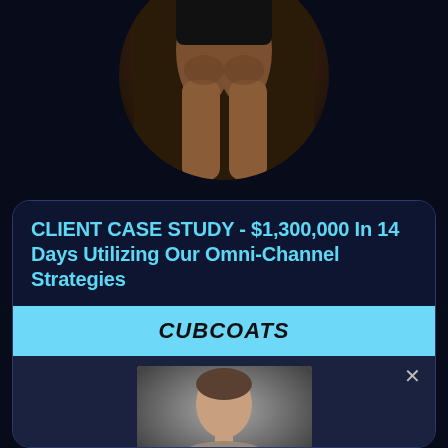[Figure (photo): Circular cropped photo of a person's lower body in athletic/fitness attire against a dark background]
CLIENT CASE STUDY - $1,300,000 In 14 Days Utilizing Our Omni-Channel Strategies
CUBCOATS
[Figure (photo): Headshot thumbnail of a man, appearing in a video player interface with a close/X button]